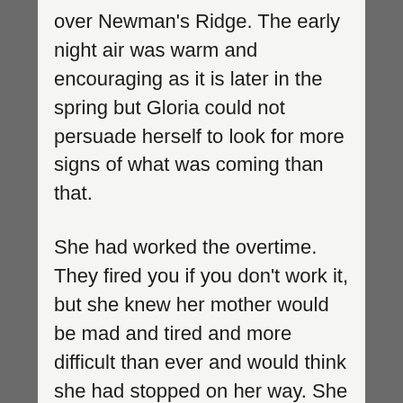over Newman's Ridge. The early night air was warm and encouraging as it is later in the spring but Gloria could not persuade herself to look for more signs of what was coming than that.
She had worked the overtime. They fired you if you don't work it, but she knew her mother would be mad and tired and more difficult than ever and would think she had stopped on her way. She had enough trouble from the people at work who thought she was the stupidest person alive.
Gloria was twenty-nine and nothing about her was quick. She had broad low cheekbones,